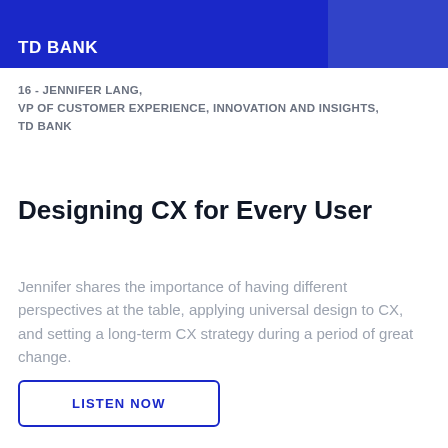[Figure (other): Blue banner header with TD BANK logo text and a partial photo of a person on the right side]
16 - JENNIFER LANG,
VP OF CUSTOMER EXPERIENCE, INNOVATION AND INSIGHTS,
TD BANK
Designing CX for Every User
Jennifer shares the importance of having different perspectives at the table, applying universal design to CX, and setting a long-term CX strategy during a period of great change.
LISTEN NOW